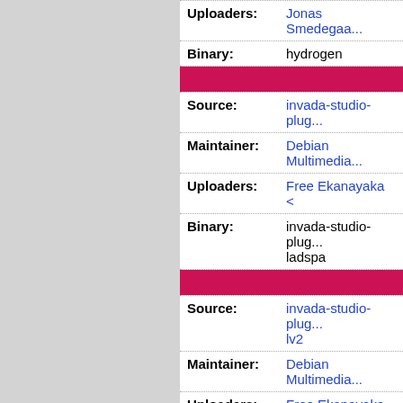| Field | Value |
| --- | --- |
| Uploaders: | Jonas Smedegaa... |
| Binary: | hydrogen |
| Source: | invada-studio-plug... |
| Maintainer: | Debian Multimedia... |
| Uploaders: | Free Ekanayaka <... |
| Binary: | invada-studio-plug... ladspa |
| Source: | invada-studio-plug... lv2 |
| Maintainer: | Debian Multimedia... |
| Uploaders: | Free Ekanayaka <... |
| Binary: | invada-studio-plug... lv2 |
| Source: | ir.lv2 |